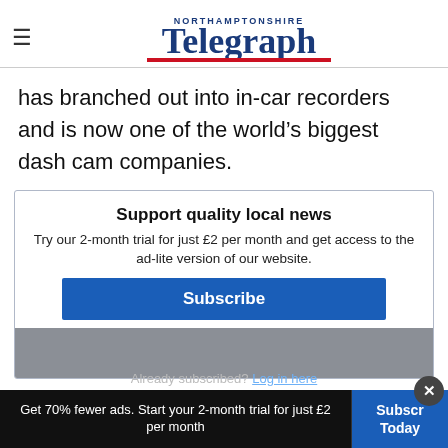Northamptonshire Telegraph
has branched out into in-car recorders and is now one of the world's biggest dash cam companies.
Support quality local news
Try our 2-month trial for just £2 per month and get access to the ad-lite version of our website.
Subscribe
Already subscribed? Log in here
Get 70% fewer ads. Start your 2-month trial for just £2 per month
Subscribe Today